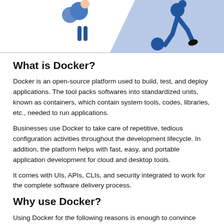[Figure (illustration): Illustration showing two cartoon figures: one on the left holding a large blue sphere/Docker logo, and one on the right (in silhouette) kicking a ball, against a light blue diagonal background panel.]
What is Docker?
Docker is an open-source platform used to build, test, and deploy applications. The tool packs softwares into standardized units, known as containers, which contain system tools, codes, libraries, etc., needed to run applications.
Businesses use Docker to take care of repetitive, tedious configuration activities throughout the development lifecycle. In addition, the platform helps with fast, easy, and portable application development for cloud and desktop tools.
It comes with UIs, APIs, CLIs, and security integrated to work for the complete software delivery process.
Why use Docker?
Using Docker for the following reasons is enough to convince sole...